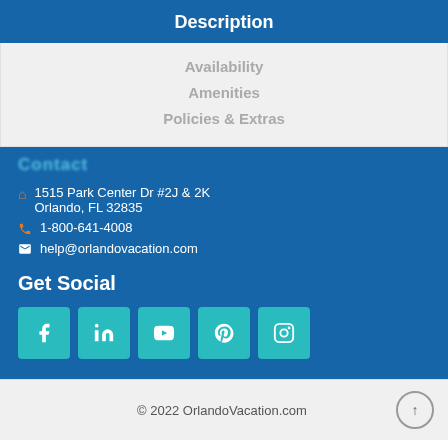Description
Availability
Amenities
Policies & Extras
1515 Park Center Dr #2J & 2K
Orlando, FL 32835
1-800-641-4008
help@orlandovacation.com
Get Social
[Figure (infographic): Social media icon buttons: Facebook, LinkedIn, YouTube, Pinterest, Instagram]
© 2022 OrlandoVacation.com